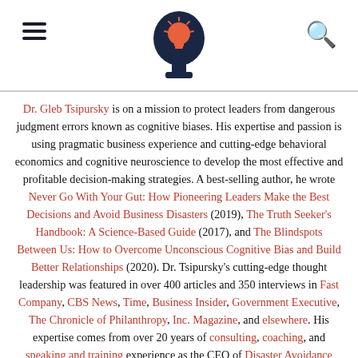Navigation header with hamburger menu, brain/lightbulb logo, and search icon
Dr. Gleb Tsipursky is on a mission to protect leaders from dangerous judgment errors known as cognitive biases. His expertise and passion is using pragmatic business experience and cutting-edge behavioral economics and cognitive neuroscience to develop the most effective and profitable decision-making strategies. A best-selling author, he wrote Never Go With Your Gut: How Pioneering Leaders Make the Best Decisions and Avoid Business Disasters (2019), The Truth Seeker's Handbook: A Science-Based Guide (2017), and The Blindspots Between Us: How to Overcome Unconscious Cognitive Bias and Build Better Relationships (2020). Dr. Tsipursky's cutting-edge thought leadership was featured in over 400 articles and 350 interviews in Fast Company, CBS News, Time, Business Insider, Government Executive, The Chronicle of Philanthropy, Inc. Magazine, and elsewhere. His expertise comes from over 20 years of consulting, coaching, and speaking and training experience as the CEO of Disaster Avoidance Experts. Its hundreds of clients, mid-size and large companies and nonprofits, span North America, Europe, and